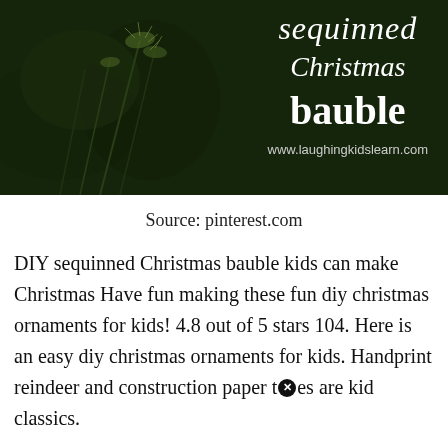[Figure (photo): Dark green background image of grass/plants with white text overlay: 'sequinned Christmas bauble' and website URL www.laughingkidslearn.com]
Source: pinterest.com
DIY sequinned Christmas bauble kids can make Christmas Have fun making these fun diy christmas ornaments for kids! 4.8 out of 5 stars 104. Here is an easy diy christmas ornaments for kids. Handprint reindeer and construction paper t[x]es are kid classics.